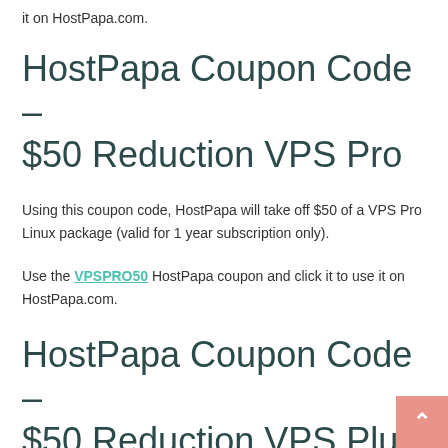it on HostPapa.com.
HostPapa Coupon Code – $50 Reduction VPS Pro
Using this coupon code, HostPapa will take off $50 of a VPS Pro Linux package (valid for 1 year subscription only).
Use the VPSPRO50 HostPapa coupon and click it to use it on HostPapa.com.
HostPapa Coupon Code – $50 Reduction VPS Plus